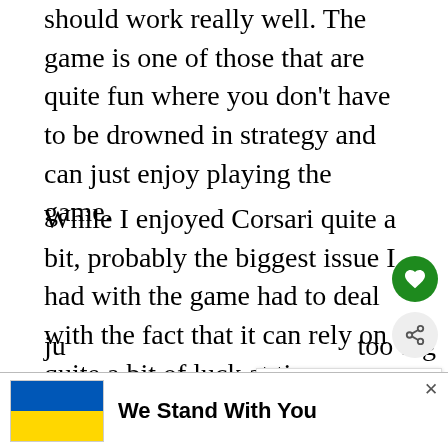should work really well. The game is one of those that are quite fun where you don't have to be drowned in strategy and can just enjoy playing the game.
While I enjoyed Corsari quite a bit, probably the biggest issue I had with the game had to deal with the fact that it can rely on quite a bit of luck at times. There is no way to completely remove luck from these type of card games. I don't think I would even like a game like this if it didn't at least have luck involved because the game would then ju... too big of... is can
[Figure (other): Green circular heart (like/save) button icon on the right side]
[Figure (other): Light grey circular share button icon on the right side]
[Figure (other): WHAT'S NEXT panel showing thumbnail image and text 'Innovation Card Game...']
[Figure (other): Advertisement banner: Ukrainian flag colors (blue and yellow) with text 'We Stand With You' and a close X button]